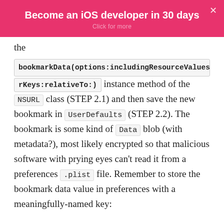[Figure (screenshot): Pink promotional banner with text 'Become an iOS developer in 30 days' and 'Click for more']
the bookmarkData(options:includingResourceValuesForKeys:relativeTo:) instance method of the NSURL class (STEP 2.1) and then save the new bookmark in UserDefaults (STEP 2.2). The bookmark is some kind of Data blob (with metadata?), most likely encrypted so that malicious software with prying eyes can't read it from a preferences .plist file. Remember to store the bookmark data value in preferences with a meaningfully-named key: